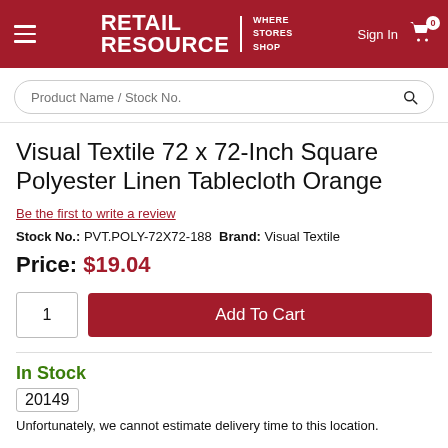RETAIL RESOURCE | WHERE STORES SHOP
Visual Textile 72 x 72-Inch Square Polyester Linen Tablecloth Orange
Be the first to write a review
Stock No.: PVT.POLY-72X72-188  Brand: Visual Textile
Price: $19.04
In Stock
20149
Unfortunately, we cannot estimate delivery time to this location.